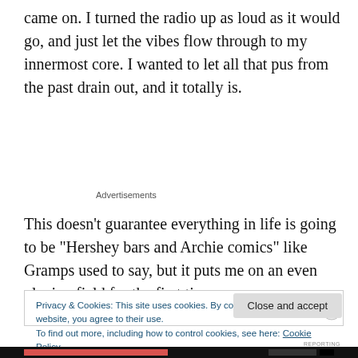came on. I turned the radio up as loud as it would go, and just let the vibes flow through to my innermost core. I wanted to let all that pus from the past drain out, and it totally is.
Advertisements
This doesn’t guarantee everything in life is going to be “Hershey bars and Archie comics” like Gramps used to say, but it puts me on an even playing field for the first time
Privacy & Cookies: This site uses cookies. By continuing to use this website, you agree to their use.
To find out more, including how to control cookies, see here: Cookie Policy
Close and accept